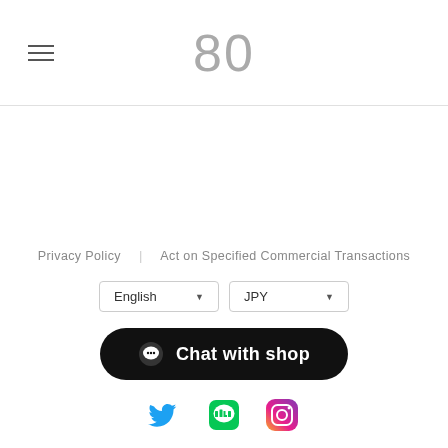80
Privacy Policy   Act on Specified Commercial Transactions
English ▼   JPY ▼
Chat with shop
[Figure (other): Social media icons: Twitter (blue bird), LINE (green), Instagram (gradient camera)]